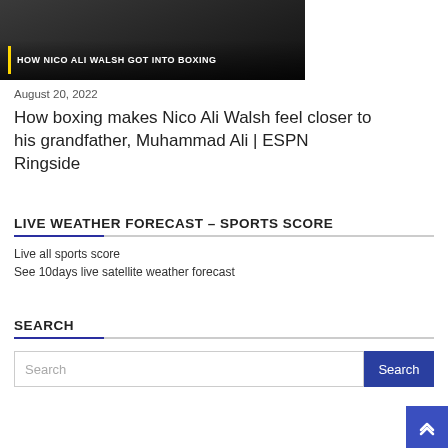[Figure (photo): Thumbnail image with dark background showing 'HOW NICO ALI WALSH GOT INTO BOXING' text overlay with yellow vertical bar accent]
August 20, 2022
How boxing makes Nico Ali Walsh feel closer to his grandfather, Muhammad Ali | ESPN Ringside
LIVE WEATHER FORECAST – SPORTS SCORE
Live all sports score
See 10days live satellite weather forecast
SEARCH